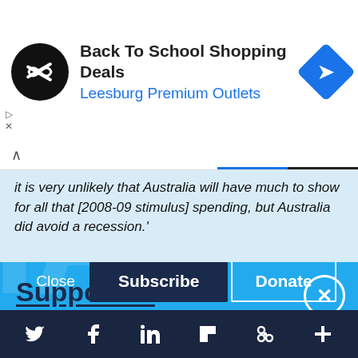[Figure (screenshot): Ad banner: Back To School Shopping Deals at Leesburg Premium Outlets with logo and direction icon]
it is very unlikely that Australia will have much to show for all that [2008-09 stimulus] spending, but Australia did avoid a recession.'
Support IA
Subscribe to IA and investigate Australia today.
Close    Subscribe    Donate
[Figure (screenshot): Footer navigation bar with Twitter, Facebook, LinkedIn, Flipboard, link, and plus icons]